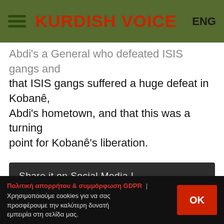KURDISH VOICE | ENG
...as a General who defeated ISIS gangs and that ISIS gangs suffered a huge defeat in Kobanê, Abdi's hometown, and that this was a turning point for Kobanê's liberation.
Share it on Social Media !
Πολιτική απορρήτου & συμμόρφωση GDPR | Χρησιμοποιούμε cookies για να σας προσφέρουμε την καλύτερη δυνατή εμπειρία στη σελίδα μας.